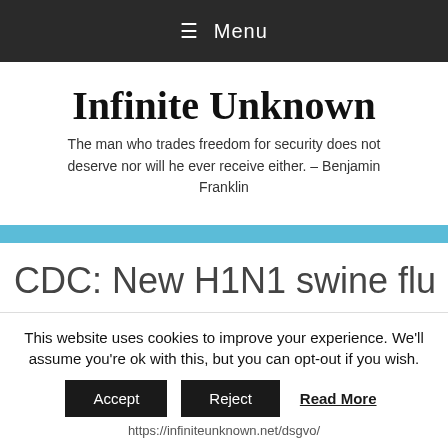≡ Menu
Infinite Unknown
The man who trades freedom for security does not deserve nor will he ever receive either. – Benjamin Franklin
CDC: New H1N1 swine flu a
This website uses cookies to improve your experience. We'll assume you're ok with this, but you can opt-out if you wish.
Accept  Reject  Read More
https://infiniteunknown.net/dsgvo/